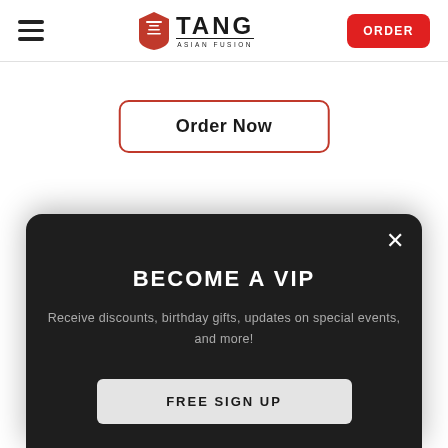Tang Asian Fusion — navigation header with hamburger menu, logo, and ORDER button
Order Now
BECOME A VIP
Receive discounts, birthday gifts, updates on special events, and more!
FREE SIGN UP